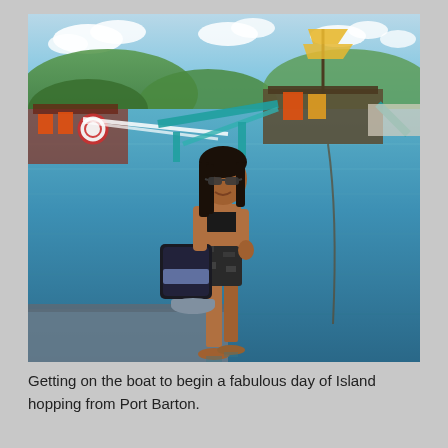[Figure (photo): A woman in a bikini top and patterned shorts, wearing sunglasses, standing on a dock or shallow water area at a Philippine island harbor. She is carrying a large bag and a rolled mat. In the background are traditional Filipino outrigger boats (bangkas) with orange life vests, turquoise/teal-painted bamboo outrigger arms, green hills, and a bright blue sky with clouds.]
Getting on the boat to begin a fabulous day of Island hopping from Port Barton.